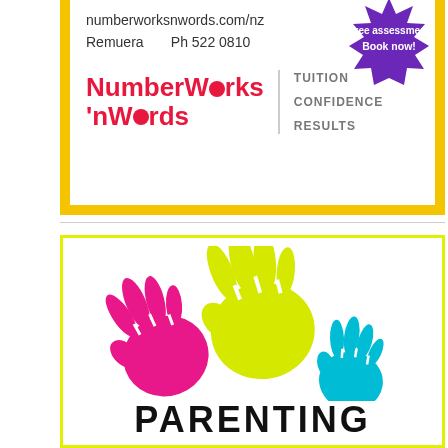[Figure (logo): NumberWorks'nWords tuition advertisement with website numberworksnwords.com/nz, Remuera location, phone Ph 522 0810, purple starburst badge saying 'Free assessment Book now!', red logo text 'NumberWorks 'nWords' with tagline TUITION CONFIDENCE RESULTS, yellow border]
[Figure (logo): Parenting advertisement with yellow border, three handprint icons in yellow (large), pink (medium), and blue (small), and large bold text 'PARENTING' at the bottom]